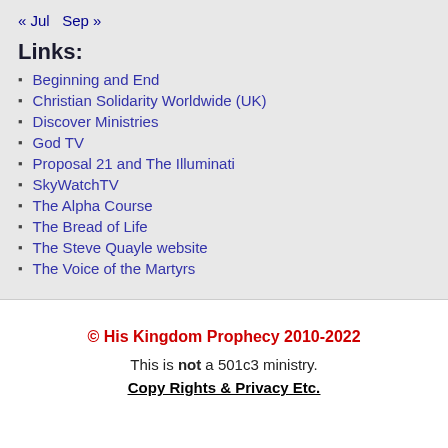« Jul  Sep »
Links:
Beginning and End
Christian Solidarity Worldwide (UK)
Discover Ministries
God TV
Proposal 21 and The Illuminati
SkyWatchTV
The Alpha Course
The Bread of Life
The Steve Quayle website
The Voice of the Martyrs
© His Kingdom Prophecy 2010-2022
This is not a 501c3 ministry.
Copy Rights & Privacy Etc.